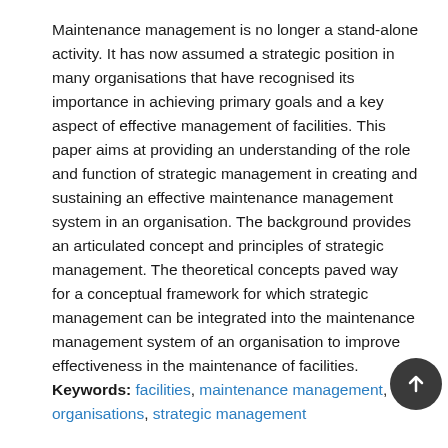Maintenance management is no longer a stand-alone activity. It has now assumed a strategic position in many organisations that have recognised its importance in achieving primary goals and a key aspect of effective management of facilities. This paper aims at providing an understanding of the role and function of strategic management in creating and sustaining an effective maintenance management system in an organisation. The background provides an articulated concept and principles of strategic management. The theoretical concepts paved way for a conceptual framework for which strategic management can be integrated into the maintenance management system of an organisation to improve effectiveness in the maintenance of facilities.
Keywords: facilities, maintenance management, organisations, strategic management